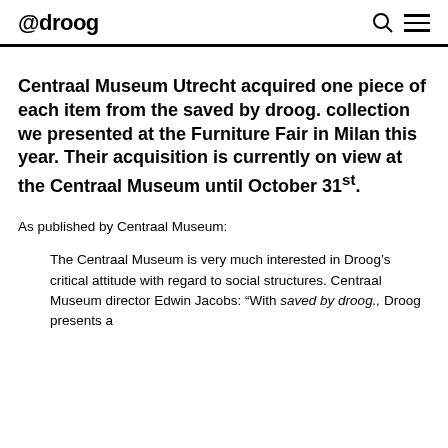@droog
Centraal Museum Utrecht acquired one piece of each item from the saved by droog. collection we presented at the Furniture Fair in Milan this year. Their acquisition is currently on view at the Centraal Museum until October 31st.
As published by Centraal Museum:
The Centraal Museum is very much interested in Droog’s critical attitude with regard to social structures. Centraal Museum director Edwin Jacobs: “With saved by droog., Droog presents a